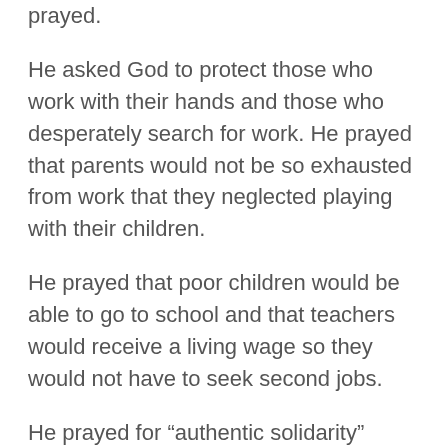prayed.
He asked God to protect those who work with their hands and those who desperately search for work. He prayed that parents would not be so exhausted from work that they neglected playing with their children.
He prayed that poor children would be able to go to school and that teachers would receive a living wage so they would not have to seek second jobs.
He prayed for “authentic solidarity” among workers and that they would encourage one another and support one another and work together to “constructively defend their rights.”